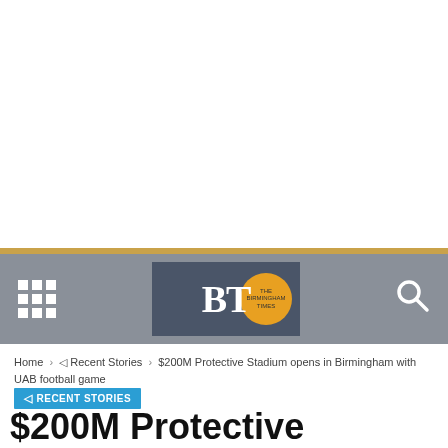[Figure (screenshot): White space at top of webpage screenshot]
BT Birmingham Times - navigation bar with grid menu icon, BT logo, and search icon
Home › ◁ Recent Stories › $200M Protective Stadium opens in Birmingham with UAB football game
◁ RECENT STORIES
$200M Protective Stadium opens in Birmingham with UAB football game